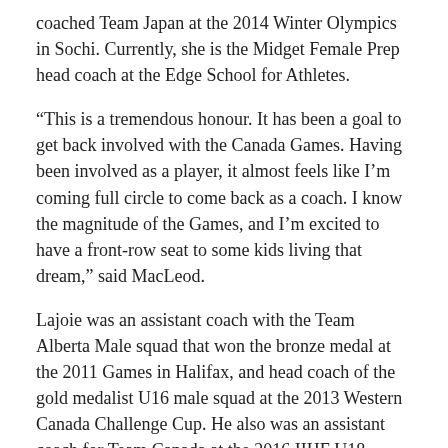coached Team Japan at the 2014 Winter Olympics in Sochi. Currently, she is the Midget Female Prep head coach at the Edge School for Athletes.
“This is a tremendous honour. It has been a goal to get back involved with the Canada Games. Having been involved as a player, it almost feels like I’m coming full circle to come back as a coach. I know the magnitude of the Games, and I’m excited to have a front-row seat to some kids living that dream,” said MacLeod.
Lajoie was an assistant coach with the Team Alberta Male squad that won the bronze medal at the 2011 Games in Halifax, and head coach of the gold medalist U16 male squad at the 2013 Western Canada Challenge Cup. He also was an assistant coach for Team Canada at the 2016 IIHF U18 World Championship. As a player, Lajoie participated in the inaugural Alberta Cup, winning